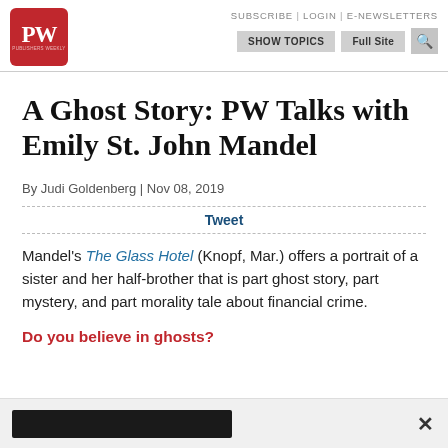SUBSCRIBE | LOGIN | E-NEWSLETTERS | SHOW TOPICS | Full Site
[Figure (logo): Publishers Weekly PW red logo box]
A Ghost Story: PW Talks with Emily St. John Mandel
By Judi Goldenberg | Nov 08, 2019
Tweet
Mandel's The Glass Hotel (Knopf, Mar.) offers a portrait of a sister and her half-brother that is part ghost story, part mystery, and part morality tale about financial crime.
Do you believe in ghosts?